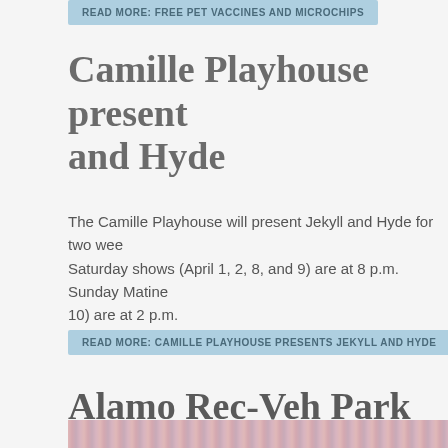READ MORE: FREE PET VACCINES AND MICROCHIPS
Camille Playhouse present... and Hyde
The Camille Playhouse will present Jekyll and Hyde for two wee... Saturday shows (April 1, 2, 8, and 9) are at 8 p.m. Sunday Matine... 10) are at 2 p.m.
READ MORE: CAMILLE PLAYHOUSE PRESENTS JEKYLL AND HYDE
Alamo Rec-Veh Park celebr... 49th Anniversary Extravag...
[Figure (photo): Photo showing pink/rose-gold tinsel or streamers curtain backdrop]